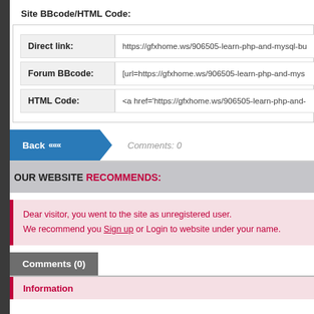Site BBcode/HTML Code:
|  |  |
| --- | --- |
| Direct link: | https://gfxhome.ws/906505-learn-php-and-mysql-bu |
| Forum BBcode: | [url=https://gfxhome.ws/906505-learn-php-and-mys |
| HTML Code: | <a href='https://gfxhome.ws/906505-learn-php-and- |
Back «« Comments: 0
OUR WEBSITE RECOMMENDS:
Dear visitor, you went to the site as unregistered user. We recommend you Sign up or Login to website under your name.
Comments (0)
Information